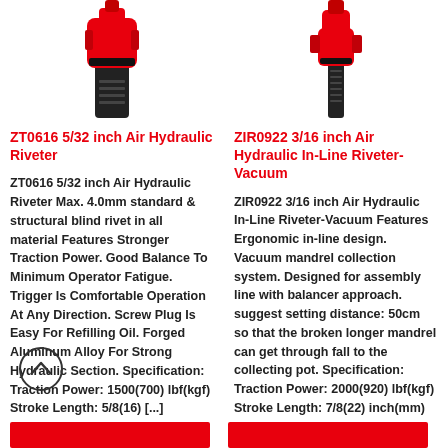[Figure (photo): ZT0616 Air Hydraulic Riveter - red and black tool, top portion visible]
ZT0616 5/32 inch Air Hydraulic Riveter
ZT0616 5/32 inch Air Hydraulic Riveter Max. 4.0mm standard & structural blind rivet in all material Features Stronger Traction Power. Good Balance To Minimum Operator Fatigue. Trigger Is Comfortable Operation At Any Direction. Screw Plug Is Easy For Refilling Oil. Forged Aluminum Alloy For Strong Hydraulic Section. Specification: Traction Power: 1500(700) lbf(kgf) Stroke Length: 5/8(16) [...]
[Figure (photo): ZIR0922 Air Hydraulic In-Line Riveter-Vacuum - red and black inline tool, top portion visible]
ZIR0922 3/16 inch Air Hydraulic In-Line Riveter-Vacuum
ZIR0922 3/16 inch Air Hydraulic In-Line Riveter-Vacuum Features Ergonomic in-line design. Vacuum mandrel collection system. Designed for assembly line with balancer approach. suggest setting distance: 50cm so that the broken longer mandrel can get through fall to the collecting pot. Specification: Traction Power: 2000(920) lbf(kgf) Stroke Length: 7/8(22) inch(mm) Net Weight: 4.2(1.9) lbs(kgs) Nosepieces Equipped: [...]